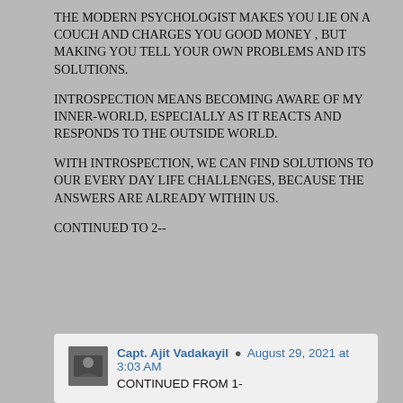THE MODERN PSYCHOLOGIST MAKES YOU LIE ON A COUCH AND CHARGES YOU GOOD MONEY , BUT MAKING YOU TELL YOUR OWN PROBLEMS AND ITS SOLUTIONS.
INTROSPECTION MEANS BECOMING AWARE OF MY INNER-WORLD, ESPECIALLY AS IT REACTS AND RESPONDS TO THE OUTSIDE WORLD.
WITH INTROSPECTION, WE CAN FIND SOLUTIONS TO OUR EVERY DAY LIFE CHALLENGES, BECAUSE THE ANSWERS ARE ALREADY WITHIN US.
CONTINUED TO 2--
Capt. Ajit Vadakayil ● August 29, 2021 at 3:03 AM
CONTINUED FROM 1-